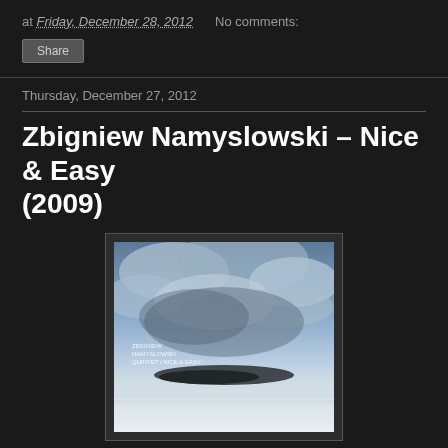at Friday, December 28, 2012   No comments:
Share
Thursday, December 27, 2012
Zbigniew Namyslowski – Nice & Easy (2009)
[Figure (photo): Album cover for Zbigniew Namyslowski Quintet / Nice & Easy showing a seascape with dramatic cloudy sky and a dark landmass at the horizon]
Zbigniew Namyslowski - saxophone
Jacek Namyslowski - trombone
Slawomir Jaskulke - piano
Andrzej Swies - bass